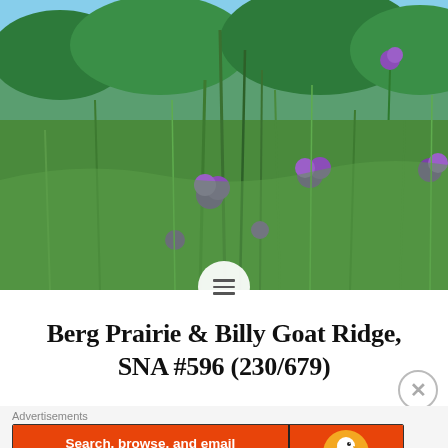[Figure (photo): Prairie wildflowers with purple blooms (likely blazing star/liatris) amid tall green grasses on a sunny day, with blue sky and trees in the background.]
Berg Prairie & Billy Goat Ridge, SNA #596 (230/679)
Advertisements
[Figure (other): DuckDuckGo advertisement banner: orange background with text 'Search, browse, and email with more privacy. All in One Free App' and DuckDuckGo logo on the right.]